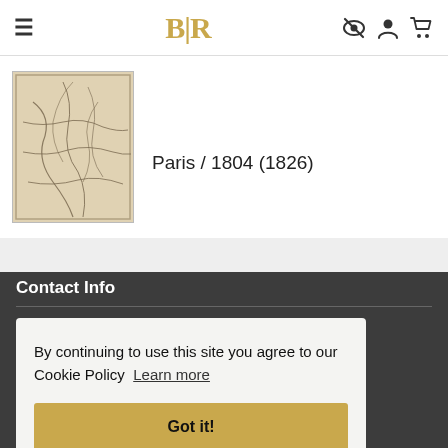BLR
Paris / 1804 (1826)
[Figure (map): Antique map thumbnail showing geographic features with hand-drawn lines]
Contact Info
Barry Lawrence Ruderman
By continuing to use this site you agree to our Cookie Policy  Learn more
Got it!
blr@raremaps.com